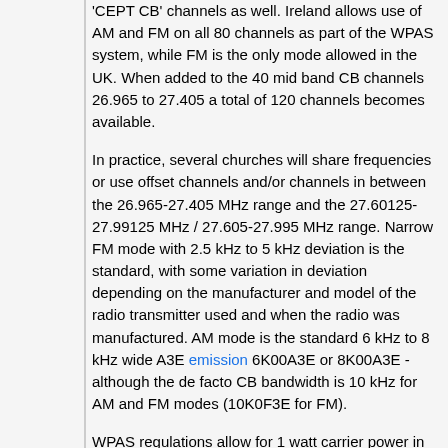'CEPT CB' channels as well. Ireland allows use of AM and FM on all 80 channels as part of the WPAS system, while FM is the only mode allowed in the UK. When added to the 40 mid band CB channels 26.965 to 27.405 a total of 120 channels becomes available.
In practice, several churches will share frequencies or use offset channels and/or channels in between the 26.965-27.405 MHz range and the 27.60125-27.99125 MHz / 27.605-27.995 MHz range. Narrow FM mode with 2.5 kHz to 5 kHz deviation is the standard, with some variation in deviation depending on the manufacturer and model of the radio transmitter used and when the radio was manufactured. AM mode is the standard 6 kHz to 8 kHz wide A3E emission 6K00A3E or 8K00A3E - although the de facto CB bandwidth is 10 kHz for AM and FM modes (10K0F3E for FM).
WPAS regulations allow for 1 watt carrier power in AM mode (4 watts peak PEP power) or 4 watts power in FM mode. Antennas must be...